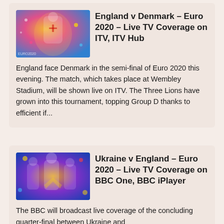[Figure (photo): Euro 2020 England promotional image with colorful abstract background and player]
England v Denmark – Euro 2020 – Live TV Coverage on ITV, ITV Hub
England face Denmark in the semi-final of Euro 2020 this evening. The match, which takes place at Wembley Stadium, will be shown live on ITV. The Three Lions have grown into this tournament, topping Group D thanks to efficient if...
[Figure (photo): Euro 2020 Ukraine v England BBC promotional image with players and colorful background]
Ukraine v England – Euro 2020 – Live TV Coverage on BBC One, BBC iPlayer
The BBC will broadcast live coverage of the concluding quarter-final between Ukraine and